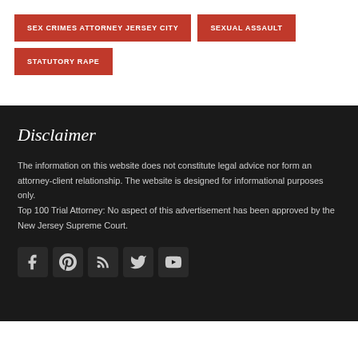SEX CRIMES ATTORNEY JERSEY CITY
SEXUAL ASSAULT
STATUTORY RAPE
Disclaimer
The information on this website does not constitute legal advice nor form an attorney-client relationship. The website is designed for informational purposes only.
Top 100 Trial Attorney: No aspect of this advertisement has been approved by the New Jersey Supreme Court.
[Figure (other): Social media icons row: Facebook, Pinterest, RSS, Twitter, YouTube]